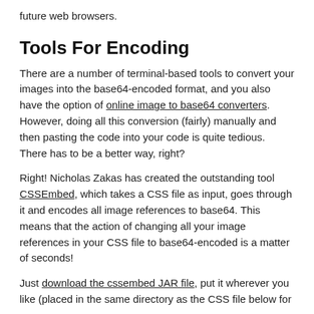future web browsers.
Tools For Encoding
There are a number of terminal-based tools to convert your images into the base64-encoded format, and you also have the option of online image to base64 converters. However, doing all this conversion (fairly) manually and then pasting the code into your code is quite tedious. There has to be a better way, right?
Right! Nicholas Zakas has created the outstanding tool CSSEmbed, which takes a CSS file as input, goes through it and encodes all image references to base64. This means that the action of changing all your image references in your CSS file to base64-encoded is a matter of seconds!
Just download the cssembed JAR file, put it wherever you like (placed in the same directory as the CSS file below for